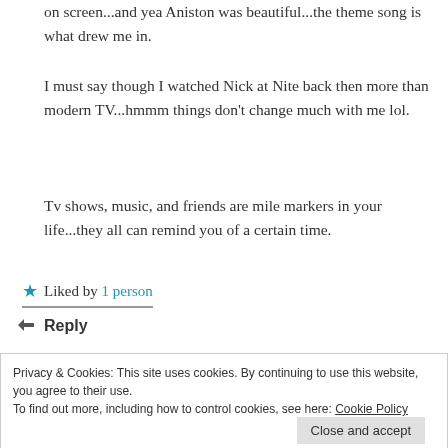on screen...and yea Aniston was beautiful...the theme song is what drew me in.
I must say though I watched Nick at Nite back then more than modern TV...hmmm things don't change much with me lol.
Tv shows, music, and friends are mile markers in your life...they all can remind you of a certain time.
Liked by 1 person
Reply
Privacy & Cookies: This site uses cookies. By continuing to use this website, you agree to their use. To find out more, including how to control cookies, see here: Cookie Policy
Close and accept
Thursday nights for millions. I liked Friends better